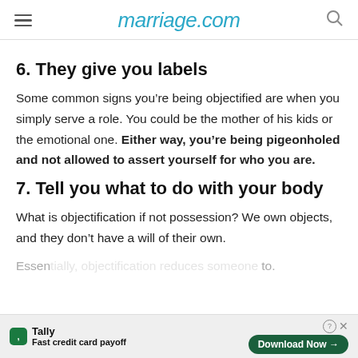marriage.com
6. They give you labels
Some common signs you’re being objectified are when you simply serve a role. You could be the mother of his kids or the emotional one. Either way, you’re being pigeonholed and not allowed to assert yourself for who you are.
7. Tell you what to do with your body
What is objectification if not possession? We own objects, and they don’t have a will of their own. Essen… to.
Tally Fast credit card payoff Download Now →